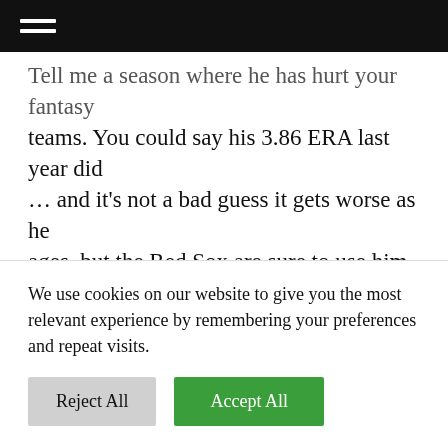≡ (hamburger menu icon on dark bar)
Tell me a season where he has hurt your fantasy teams. You could say his 3.86 ERA last year did … and it's not a bad guess it gets worse as he ages, but the Red Sox are sure to use him in the rotation until the man can't do it anymore, and somehow his four-seamer at 88 mph still gets the job done — 10% SwStr rate with a 25% CS rate = 35% CSW (It's gotta be the low VAA that aids four-seamers, but that's a discussion for
We use cookies on our website to give you the most relevant experience by remembering your preferences and repeat visits.
Reject All   Accept All